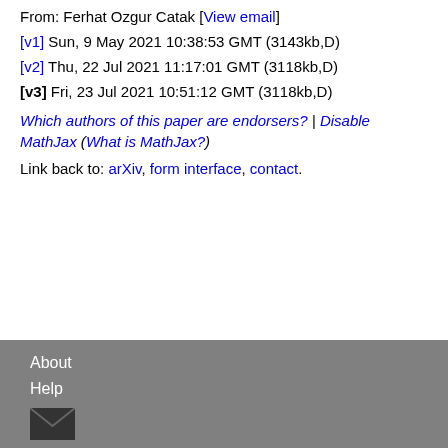From: Ferhat Ozgur Catak [View email]
[v1] Sun, 9 May 2021 10:38:53 GMT (3143kb,D)
[v2] Thu, 22 Jul 2021 11:17:01 GMT (3118kb,D)
[v3] Fri, 23 Jul 2021 10:51:12 GMT (3118kb,D)
Which authors of this paper are endorsers? | Disable MathJax (What is MathJax?)
Link back to: arXiv, form interface, contact.
About
Help
Contact
About
Help